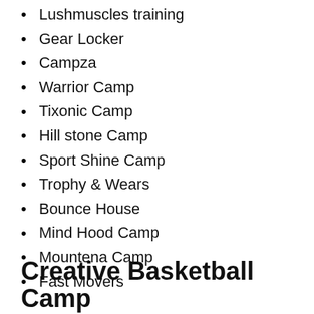Lushmuscles training
Gear Locker
Campza
Warrior Camp
Tixonic Camp
Hill stone Camp
Sport Shine Camp
Trophy & Wears
Bounce House
Mind Hood Camp
Mountena Camp
Fast Movers
Creative Basketball Camp